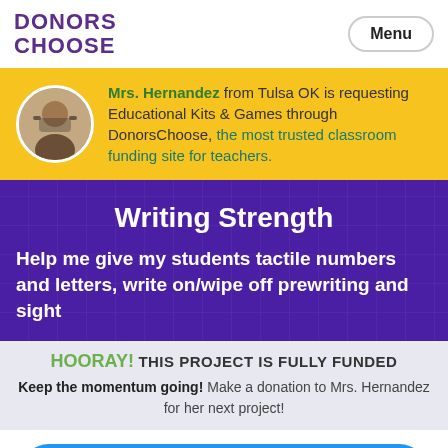DONORS CHOOSE
Mrs. Hernandez from Tulsa OK is requesting Educational Kits & Games through DonorsChoose, the most trusted classroom funding site for teachers.
Writing Strength
Help me give my students tactile numbers and letters, write on/wipe off prewriting and sight
HOORAY! THIS PROJECT IS FULLY FUNDED
Keep the momentum going! Make a donation to Mrs. Hernandez for her next project!
Help Mrs. Hernandez